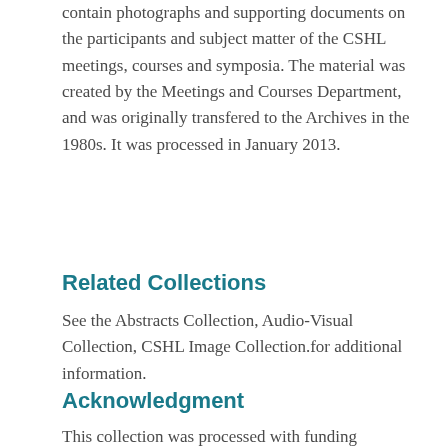contain photographs and supporting documents on the participants and subject matter of the CSHL meetings, courses and symposia. The material was created by the Meetings and Courses Department, and was originally transfered to the Archives in the 1980s. It was processed in January 2013.
Related Collections
See the Abstracts Collection, Audio-Visual Collection, CSHL Image Collection.for additional information.
Acknowledgment
This collection was processed with funding provided by the National